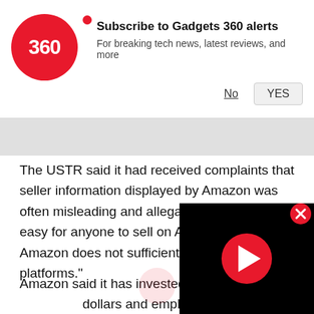[Figure (infographic): Gadgets 360 subscription notification banner with logo, title 'Subscribe to Gadgets 360 alerts', subtitle 'For breaking tech news, latest reviews, and more', and No/YES buttons]
The USTR said it had received complaints that seller information displayed by Amazon was often misleading and allegations it was too easy for anyone to sell on Amazon "because Amazon does not sufficiently vet sellers on its platforms."
Amazon said it has invested hundreds of millions of dollars and employs several thousands of people in an effort to protect against fraud and abuse, adding that more funding and resources are needed for law enforcement.
[Figure (screenshot): Video player overlay with black background and red play button circle, with close (X) button in top right]